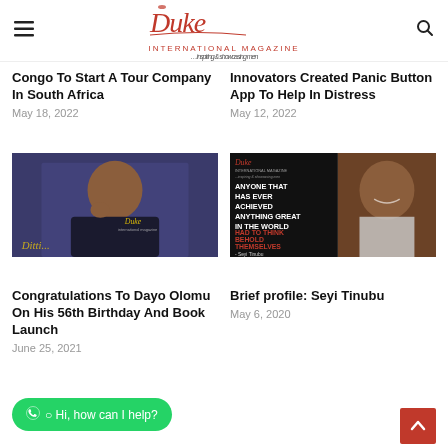Duke International Magazine — inspiring & showcasing men
Congo To Start A Tour Company In South Africa
May 18, 2022
Innovators Created Panic Button App To Help In Distress
May 12, 2022
[Figure (photo): Portrait of Dayo Olomu with Duke International Magazine branding]
[Figure (photo): Motivational quote card with Seyi Tinubu: ANYONE THAT HAS EVER ACHIEVED ANYTHING GREAT IN THE WORLD HAD TO THINK BEHOLD THEMSELVES - Seyi Tinubu]
Congratulations To Dayo Olomu On His 56th Birthday And Book Launch
June 25, 2021
Brief profile: Seyi Tinubu
May 6, 2020